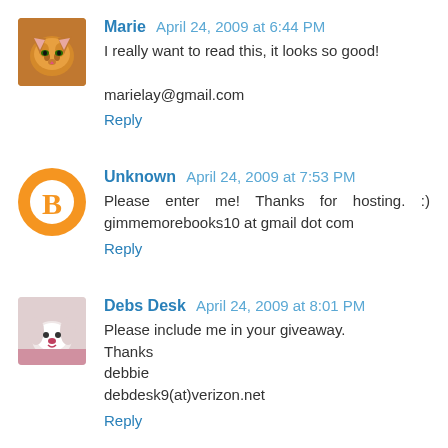[Figure (photo): Avatar image of a cat (Marie)]
Marie April 24, 2009 at 6:44 PM
I really want to read this, it looks so good!

marielay@gmail.com
Reply
[Figure (logo): Blogger avatar orange circle with B icon (Unknown)]
Unknown April 24, 2009 at 7:53 PM
Please enter me! Thanks for hosting. :) gimmemorebooks10 at gmail dot com
Reply
[Figure (photo): Avatar image of a small dog (Debs Desk)]
Debs Desk April 24, 2009 at 8:01 PM
Please include me in your giveaway.
Thanks
debbie
debdesk9(at)verizon.net
Reply